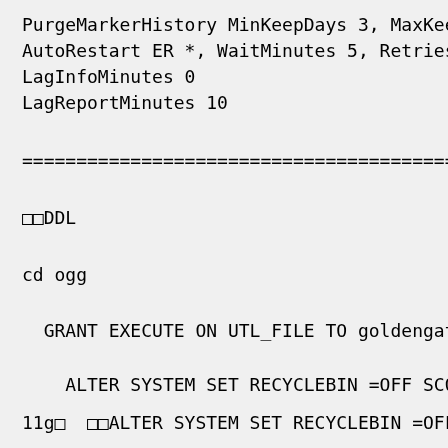PurgeMarkerHistory MinKeepDays 3, MaxKee
AutoRestart ER *, WaitMinutes 5, Retries
LagInfoMinutes 0
LagReportMinutes 10
========================================
□□DDL
cd  ogg
GRANT EXECUTE ON UTL_FILE TO goldengate
ALTER SYSTEM SET RECYCLEBIN =OFF SCOPE
11g□  □□ALTER SYSTEM SET RECYCLEBIN =OFF